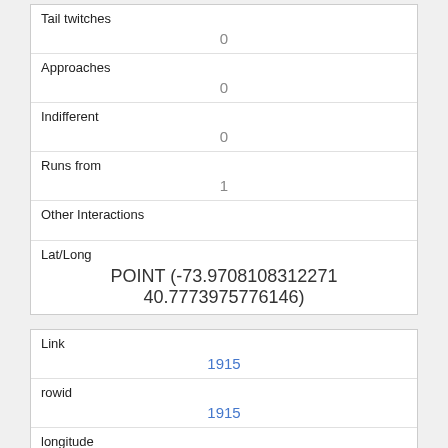| Tail twitches | 0 |
| Approaches | 0 |
| Indifferent | 0 |
| Runs from | 1 |
| Other Interactions |  |
| Lat/Long | POINT (-73.9708108312271 40.7773975776146) |
| Link | 1915 |
| rowid | 1915 |
| longitude | -73.9797112925048 |
| latitude | 40.76889467784721 |